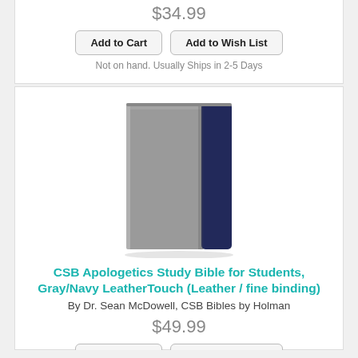$34.99
Add to Cart
Add to Wish List
Not on hand. Usually Ships in 2-5 Days
[Figure (photo): Book cover for CSB Apologetics Study Bible for Students, Gray/Navy LeatherTouch. The cover shows a gray and navy two-tone leathertouch binding.]
CSB Apologetics Study Bible for Students, Gray/Navy LeatherTouch (Leather / fine binding)
By Dr. Sean McDowell, CSB Bibles by Holman
$49.99
Add to Cart
Add to Wish List
Not on hand. Usually Ships in 2-5 Days